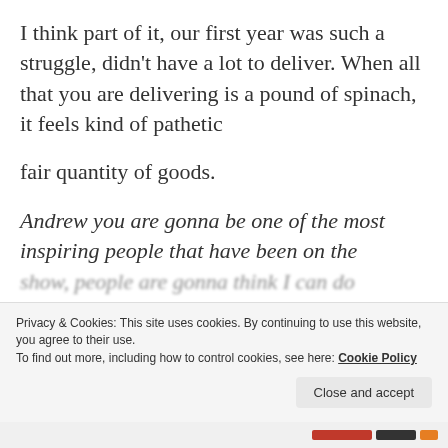I think part of it, our first year was such a struggle, didn't have a lot to deliver. When all that you are delivering is a pound of spinach, it feels kind of pathetic
fair quantity of goods.
Andrew you are gonna be one of the most inspiring people that have been on the show, people are gonna think I can do
Privacy & Cookies: This site uses cookies. By continuing to use this website, you agree to their use.
To find out more, including how to control cookies, see here: Cookie Policy
Close and accept